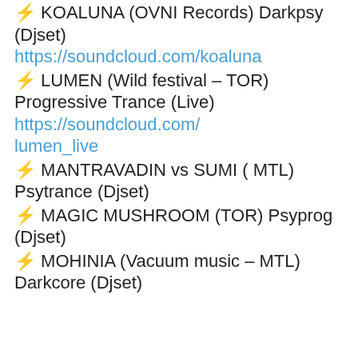⚡ KOALUNA (OVNI Records) Darkpsy (Djset) https://soundcloud.com/koaluna
⚡ LUMEN (Wild festival – TOR) Progressive Trance (Live) https://soundcloud.com/lumen_live
⚡ MANTRAVADIN vs SUMI ( MTL) Psytrance (Djset)
⚡ MAGIC MUSHROOM (TOR) Psyprog (Djset)
⚡ MOHINIA (Vacuum music – MTL) Darkcore (Djset)